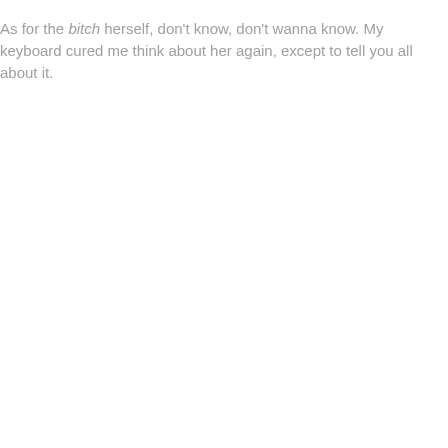As for the bitch herself, don't know, don't wanna know. My keyboard cured me think about her again, except to tell you all about it.